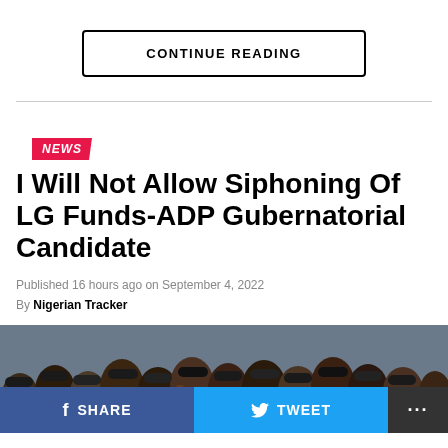CONTINUE READING
NEWS
I Will Not Allow Siphoning Of LG Funds-ADP Gubernatorial Candidate
Published 16 hours ago on September 4, 2022
By Nigerian Tracker
[Figure (photo): A crowd of people at a political rally or gathering, many wearing caps and casual clothing]
SHARE   TWEET   ...